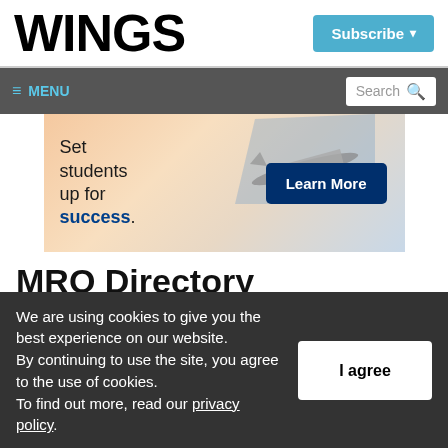WINGS
Subscribe ▾
≡ MENU     Search 🔍
[Figure (illustration): Advertisement banner: aircraft silhouette over sunset background. Text reads 'Set students up for success.' with a 'Learn More' button.]
MRO Directory
PLATINUM LISTINGS
We are using cookies to give you the best experience on our website. By continuing to use the site, you agree to the use of cookies. To find out more, read our privacy policy.